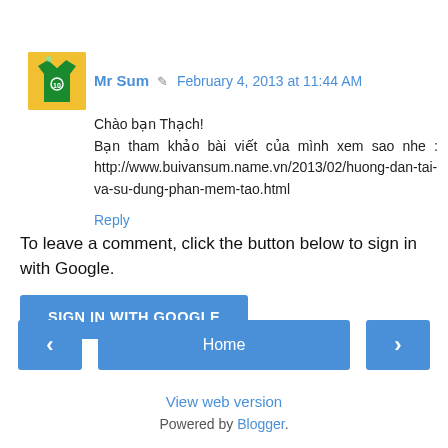Mr Sum  February 4, 2013 at 11:44 AM
Chào bạn Thạch!
Bạn tham khảo bài viết của mình xem sao nhe : http://www.buivansum.name.vn/2013/02/huong-dan-tai-va-su-dung-phan-mem-tao.html
Reply
To leave a comment, click the button below to sign in with Google.
SIGN IN WITH GOOGLE
Home
View web version
Powered by Blogger.